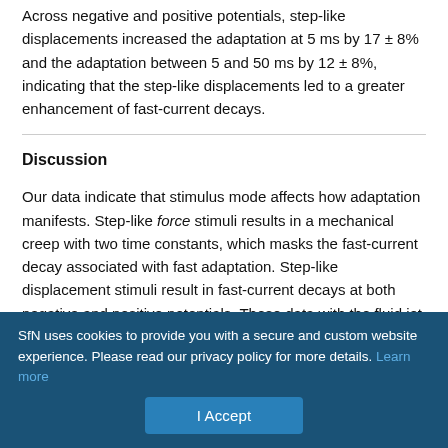Across negative and positive potentials, step-like displacements increased the adaptation at 5 ms by 17 ± 8% and the adaptation between 5 and 50 ms by 12 ± 8%, indicating that the step-like displacements led to a greater enhancement of fast-current decays.
Discussion
Our data indicate that stimulus mode affects how adaptation manifests. Step-like force stimuli results in a mechanical creep with two time constants, which masks the fast-current decay associated with fast adaptation. Step-like displacement stimuli result in fast-current decays at both negative and positive potentials. These data with the fluid jet are consistent with our stiff probe data (Peng et al.,
SfN uses cookies to provide you with a secure and custom website experience. Please read our privacy policy for more details. Learn more
I Accept